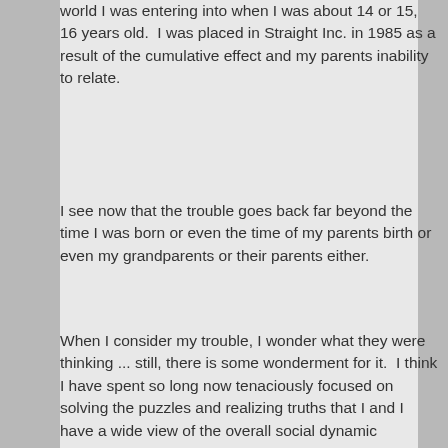world I was entering into when I was about 14 or 15, 16 years old.  I was placed in Straight Inc. in 1985 as a result of the cumulative effect and my parents inability to relate.
I see now that the trouble goes back far beyond the time I was born or even the time of my parents birth or even my grandparents or their parents either.
When I consider my trouble, I wonder what they were thinking ... still, there is some wonderment for it.  I think I have spent so long now tenaciously focused on solving the puzzles and realizing truths that I and I have a wide view of the overall social dynamic